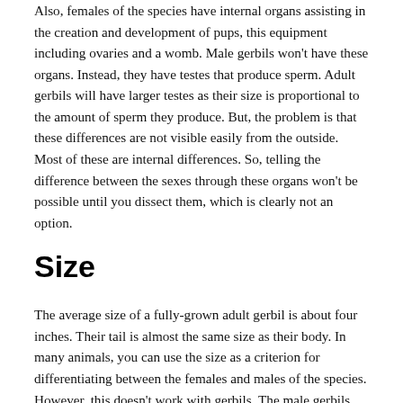Also, females of the species have internal organs assisting in the creation and development of pups, this equipment including ovaries and a womb. Male gerbils won't have these organs. Instead, they have testes that produce sperm. Adult gerbils will have larger testes as their size is proportional to the amount of sperm they produce. But, the problem is that these differences are not visible easily from the outside. Most of these are internal differences. So, telling the difference between the sexes through these organs won't be possible until you dissect them, which is clearly not an option.
Size
The average size of a fully-grown adult gerbil is about four inches. Their tail is almost the same size as their body. In many animals, you can use the size as a criterion for differentiating between the females and males of the species. However, this doesn't work with gerbils. The male gerbils have a bigger body than the females and if you had a cage with a lot of gerbils, you might be able to notice the difference. However,